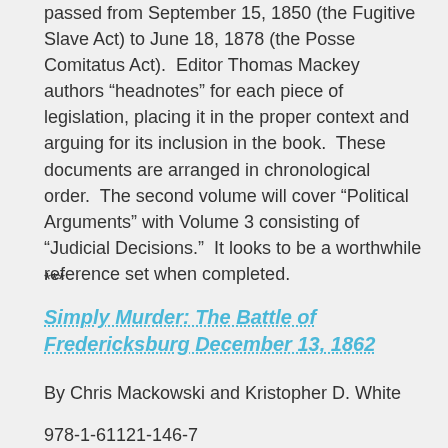passed from September 15, 1850 (the Fugitive Slave Act) to June 18, 1878 (the Posse Comitatus Act).  Editor Thomas Mackey authors “headnotes” for each piece of legislation, placing it in the proper context and arguing for its inclusion in the book.  These documents are arranged in chronological order.  The second volume will cover “Political Arguments” with Volume 3 consisting of “Judicial Decisions.”  It looks to be a worthwhile reference set when completed.
***
Simply Murder: The Battle of Fredericksburg December 13, 1862
By Chris Mackowski and Kristopher D. White
978-1-61121-146-7